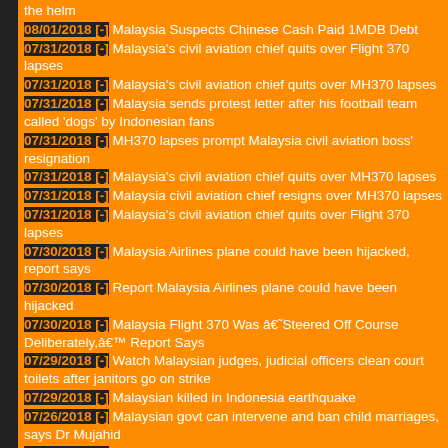the helm
08/01/2018 [-] Malaysia Suspects Chinese Cash Paid 1MDB Debt
07/31/2018 [-] Malaysia's civil aviation chief quits over Flight 370 lapses
07/31/2018 [-] Malaysia's civil aviation chief quits over MH370 lapses
07/31/2018 [-] Malaysia sends protest letter after his football team called 'dogs' by Indonesian fans
07/31/2018 [-] MH370 lapses prompt Malaysia civil aviation boss' resignation
07/31/2018 [-] Malaysia's civil aviation chief quits over MH370 lapses
07/31/2018 [-] Malaysia civil aviation chief resigns over MH370 lapses
07/31/2018 [-] Malaysia's civil aviation chief quits over Flight 370 lapses
07/30/2018 [-] Malaysia Airlines plane could have been hijacked, report says
07/30/2018 [-] Report Malaysia Airlines plane could have been hijacked
07/30/2018 [-] Malaysia Flight 370 Was â€˜Steered Off Course Deliberately,â€™ Report Says
07/29/2018 [-] Watch Malaysian judges, judicial officers clean court toilets after janitors go on strike
07/29/2018 [-] Malaysian killed in Indonesia earthquake
07/26/2018 [-] Malaysian govt can intervene and ban child marriages, says Dr Mujahid
07/25/2018 [-] Anwar will come back to Malaysia once he gets clean bill of health
07/25/2018 [-] Malaysia Airlines flight emergency caused by plastic